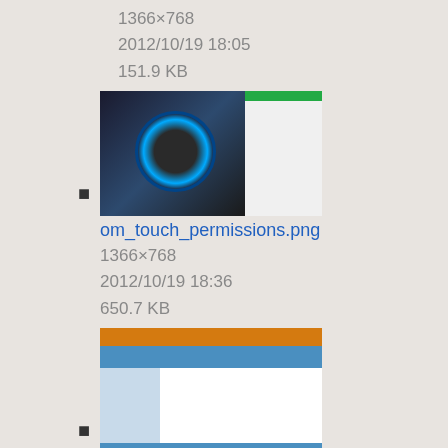1366×768
2012/10/19 18:05
151.9 KB
om_touch_permissions.png
1366×768
2012/10/19 18:36
650.7 KB
om_touch_profile_pin.png
1139×693
2013/10/09 21:56
36.3 KB
om_touch_speed_test.png
1366×768